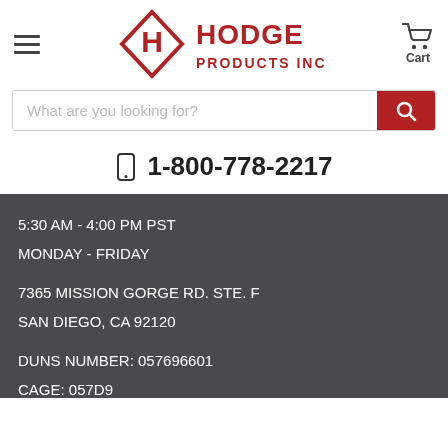[Figure (logo): Hodge Products Inc logo — red diamond with H and text HODGE PRODUCTS INC]
What are you looking for?
1-800-778-2217
5:30 AM - 4:00 PM PST
MONDAY - FRIDAY
7365 MISSION GORGE RD. STE. F
SAN DIEGO, CA 92120
DUNS NUMBER: 057696601
CAGE: 057D9